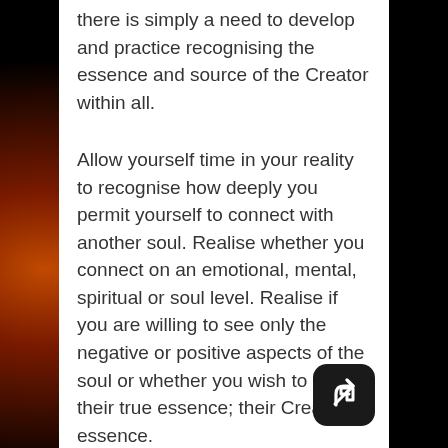there is simply a need to develop and practice recognising the essence and source of the Creator within all.
Allow yourself time in your reality to recognise how deeply you permit yourself to connect with another soul. Realise whether you connect on an emotional, mental, spiritual or soul level. Realise if you are willing to see only the negative or positive aspects of the soul or whether you wish to know their true essence; their Creator essence.
[Figure (other): Navigation button with upward-right arrow icon, dark rounded square]